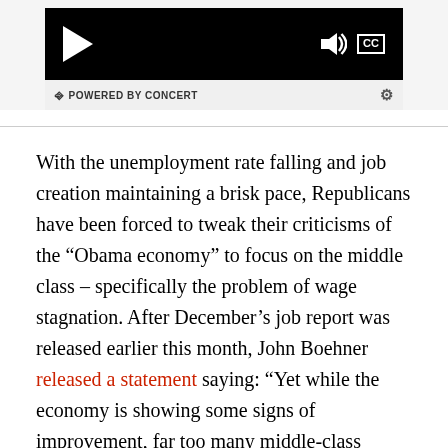[Figure (screenshot): Video player with black background showing play button, volume icon, and CC button]
POWERED BY CONCERT
With the unemployment rate falling and job creation maintaining a brisk pace, Republicans have been forced to tweak their criticisms of the “Obama economy” to focus on the middle class – specifically the problem of wage stagnation. After December’s job report was released earlier this month, John Boehner released a statement saying: “Yet while the economy is showing some signs of improvement, far too many middle-class families are struggling to bridge the gap between rising costs and stubbornly flat paychecks.”